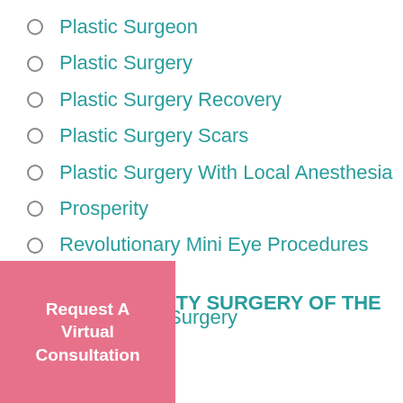Plastic Surgeon
Plastic Surgery
Plastic Surgery Recovery
Plastic Surgery Scars
Plastic Surgery With Local Anesthesia
Prosperity
Revolutionary Mini Eye Procedures
Rhinoplasty
Rhinoplasty Surgery
RHINOPLASTY SURGERY OF THE
Request A Virtual Consultation